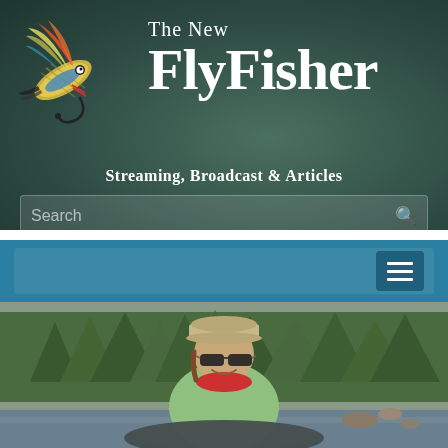[Figure (logo): The New Fly Fisher website screenshot showing logo with decorative fly fishing lure, site title, tagline, search bar, navigation bar, and photo of angler near river]
The New FlyFisher
Streaming, Broadcast & Articles
[Figure (photo): Angler wearing cap and sunglasses with red neck gaiter in light green shirt, standing near a river with forest in background, holding a large fish]